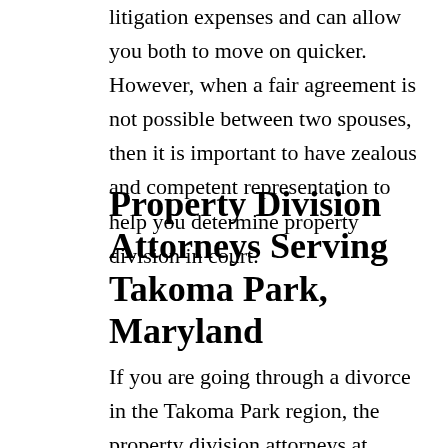litigation expenses and can allow you both to move on quicker. However, when a fair agreement is not possible between two spouses, then it is important to have zealous and competent representation to help you determine property division in court.
Property Division Attorneys Serving Takoma Park, Maryland
If you are going through a divorce in the Takoma Park region, the property division attorneys at Andalman & Flynn can protect your best interests through this difficult time. We are committed to defending the rights of clients throughout Takoma